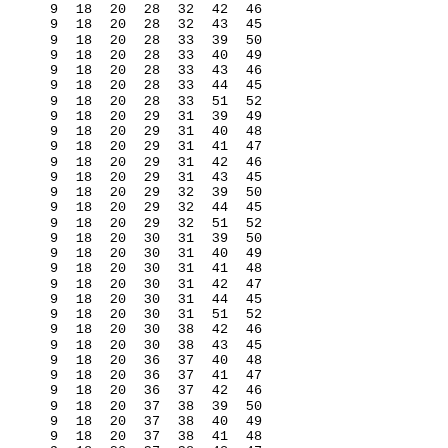| 9 | 18 | 20 | 28 | 32 | 42 | 46 |
| 9 | 18 | 20 | 28 | 32 | 43 | 45 |
| 9 | 18 | 20 | 28 | 33 | 39 | 50 |
| 9 | 18 | 20 | 28 | 33 | 40 | 49 |
| 9 | 18 | 20 | 28 | 33 | 43 | 46 |
| 9 | 18 | 20 | 28 | 33 | 44 | 45 |
| 9 | 18 | 20 | 28 | 33 | 51 | 52 |
| 9 | 18 | 20 | 29 | 31 | 39 | 49 |
| 9 | 18 | 20 | 29 | 31 | 40 | 48 |
| 9 | 18 | 20 | 29 | 31 | 41 | 47 |
| 9 | 18 | 20 | 29 | 31 | 42 | 46 |
| 9 | 18 | 20 | 29 | 31 | 43 | 45 |
| 9 | 18 | 20 | 29 | 32 | 39 | 50 |
| 9 | 18 | 20 | 29 | 32 | 44 | 45 |
| 9 | 18 | 20 | 29 | 32 | 51 | 52 |
| 9 | 18 | 20 | 30 | 31 | 39 | 50 |
| 9 | 18 | 20 | 30 | 31 | 40 | 49 |
| 9 | 18 | 20 | 30 | 31 | 41 | 48 |
| 9 | 18 | 20 | 30 | 31 | 42 | 47 |
| 9 | 18 | 20 | 30 | 31 | 44 | 45 |
| 9 | 18 | 20 | 30 | 31 | 51 | 52 |
| 9 | 18 | 20 | 30 | 38 | 42 | 46 |
| 9 | 18 | 20 | 30 | 38 | 43 | 45 |
| 9 | 18 | 20 | 36 | 37 | 40 | 48 |
| 9 | 18 | 20 | 36 | 37 | 41 | 47 |
| 9 | 18 | 20 | 36 | 37 | 42 | 46 |
| 9 | 18 | 20 | 37 | 38 | 39 | 50 |
| 9 | 18 | 20 | 37 | 38 | 40 | 49 |
| 9 | 18 | 20 | 37 | 38 | 41 | 48 |
| 9 | 18 | 20 | 37 | 38 | 42 | 47 |
| 9 | 18 | 20 | 37 | 38 | 43 | 46 |